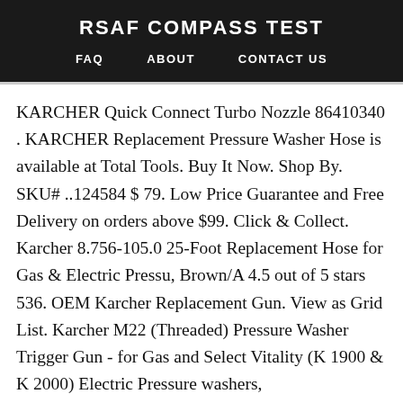RSAF COMPASS TEST
FAQ   ABOUT   CONTACT US
KARCHER Quick Connect Turbo Nozzle 86410340 . KARCHER Replacement Pressure Washer Hose is available at Total Tools. Buy It Now. Shop By. SKU# ..124584 $ 79. Low Price Guarantee and Free Delivery on orders above $99. Click & Collect. Karcher 8.756-105.0 25-Foot Replacement Hose for Gas & Electric Pressu, Brown/A 4.5 out of 5 stars 536. OEM Karcher Replacement Gun. View as Grid List. Karcher M22 (Threaded) Pressure Washer Trigger Gun - for Gas and Select Vitality (K 1900 & K 2000) Electric Pressure washers,